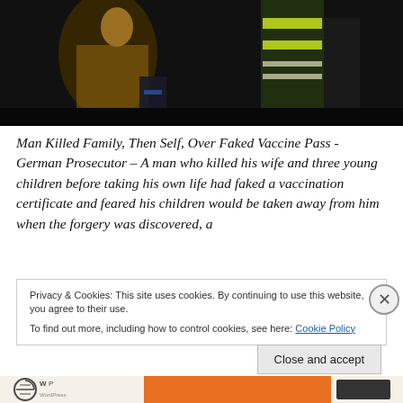[Figure (photo): Dark nighttime photo showing a person in a high-visibility yellow/green reflective vest, mostly silhouetted against black background with warm amber lighting on another figure at left.]
Man Killed Family, Then Self, Over Faked Vaccine Pass - German Prosecutor – A man who killed his wife and three young children before taking his own life had faked a vaccination certificate and feared his children would be taken away from him when the forgery was discovered, a
Privacy & Cookies: This site uses cookies. By continuing to use this website, you agree to their use.
To find out more, including how to control cookies, see here: Cookie Policy
Close and accept